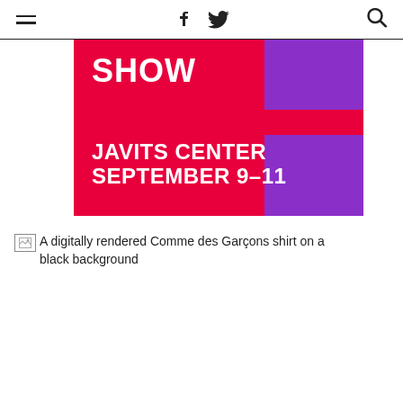hamburger menu | f | twitter bird | search icon
[Figure (illustration): Promotional banner with hot pink/red background and purple accent blocks. White bold text reads 'SHOW' at top and 'JAVITS CENTER SEPTEMBER 9–11' at bottom.]
[Figure (photo): Broken image placeholder with alt text: A digitally rendered Comme des Garçons shirt on a black background]